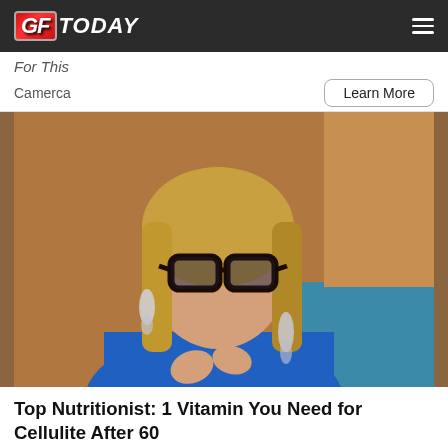GF TODAY
For This
Camerca
Learn More
[Figure (photo): A blonde woman wearing large dark-framed glasses and a blue top, with dangling crystal earrings, gesturing with her hands in a TV studio setting.]
Top Nutritionist: 1 Vitamin You Need for Cellulite After 60